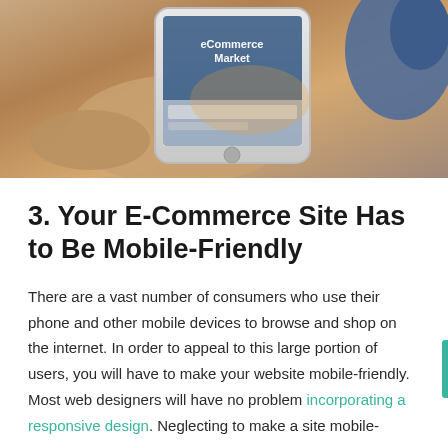[Figure (photo): A person's hand holding a white smartphone displaying an e-commerce market website. Another hand with blue-painted nails is partially visible in the upper right. The background is warm and blurred.]
3. Your E-Commerce Site Has to Be Mobile-Friendly
There are a vast number of consumers who use their phone and other mobile devices to browse and shop on the internet. In order to appeal to this large portion of users, you will have to make your website mobile-friendly. Most web designers will have no problem incorporating a responsive design. Neglecting to make a site mobile-